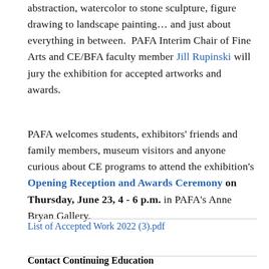abstraction, watercolor to stone sculpture, figure drawing to landscape painting… and just about everything in between. PAFA Interim Chair of Fine Arts and CE/BFA faculty member Jill Rupinski will jury the exhibition for accepted artworks and awards.
PAFA welcomes students, exhibitors' friends and family members, museum visitors and anyone curious about CE programs to attend the exhibition's Opening Reception and Awards Ceremony on Thursday, June 23, 4 - 6 p.m. in PAFA's Anne Bryan Gallery.
List of Accepted Work 2022 (3).pdf
Contact Continuing Education